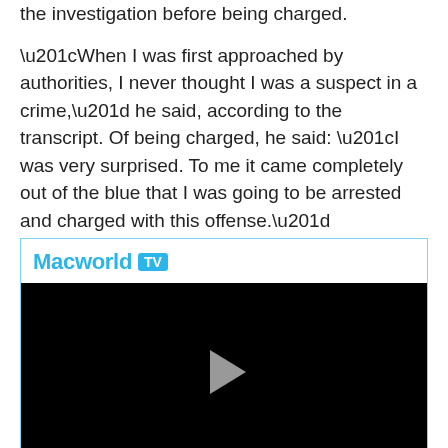the investigation before being charged.

“When I was first approached by authorities, I never thought I was a suspect in a crime,” he said, according to the transcript. Of being charged, he said: “I was very surprised. To me it came completely out of the blue that I was going to be arrested and charged with this offense.”
[Figure (screenshot): Macworld TV video player embed with black screen and play button]